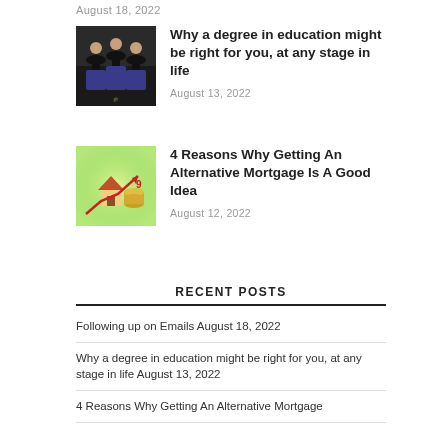August 18, 2022
[Figure (photo): Graduates in caps and gowns celebrating]
Why a degree in education might be right for you, at any stage in life
August 13, 2022
[Figure (photo): House model with coins and upward red arrow on green background]
4 Reasons Why Getting An Alternative Mortgage Is A Good Idea
August 12, 2022
RECENT POSTS
Following up on Emails August 18, 2022
Why a degree in education might be right for you, at any stage in life August 13, 2022
4 Reasons Why Getting An Alternative Mortgage